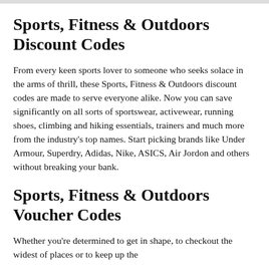Sports, Fitness & Outdoors Discount Codes
From every keen sports lover to someone who seeks solace in the arms of thrill, these Sports, Fitness & Outdoors discount codes are made to serve everyone alike. Now you can save significantly on all sorts of sportswear, activewear, running shoes, climbing and hiking essentials, trainers and much more from the industry's top names. Start picking brands like Under Armour, Superdry, Adidas, Nike, ASICS, Air Jordon and others without breaking your bank.
Sports, Fitness & Outdoors Voucher Codes
Whether you're determined to get in shape, to checkout the widest of places or to keep up the